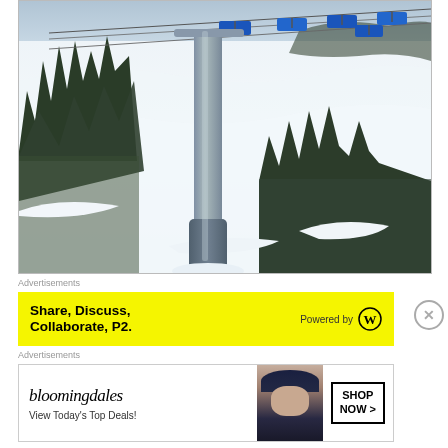[Figure (photo): Ski resort photo showing a ski lift chair cable and pole in the foreground with blue chairlift cars visible on the wire, snow-covered slope, evergreen trees on left and right sides, winter scene at a mountain ski area.]
Advertisements
[Figure (other): Advertisement banner with yellow background: 'Share, Discuss, Collaborate, P2.' with 'Powered by' and WordPress logo on the right.]
Advertisements
[Figure (other): Bloomingdale's advertisement banner: 'bloomingdales' logo, 'View Today's Top Deals!' text, image of woman in large hat, 'SHOP NOW >' button on the right.]